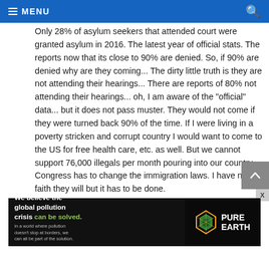MENU
Only 28% of asylum seekers that attended court were granted asylum in 2016. The latest year of official stats. The reports now that its close to 90% are denied. So, if 90% are denied why are they coming... The dirty little truth is they are not attending their hearings... There are reports of 80% not attending their hearings... oh, I am aware of the "official" data... but it does not pass muster. They would not come if they were turned back 90% of the time. If I were living in a poverty stricken and corrupt country I would want to come to the US for free health care, etc. as well. But we cannot support 76,000 illegals per month pouring into our country. Congress has to change the immigration laws. I have no faith they will but it has to be done.
[Figure (infographic): Pure Earth advertisement banner: 'We believe the global pollution crisis can be solved.' with tagline about pollution not stopping at borders and joining the solution. Pure Earth logo on right side.]